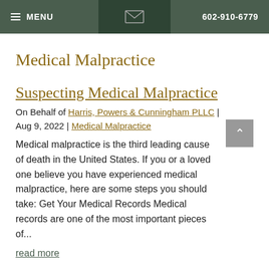MENU | 602-910-6779
Medical Malpractice
Suspecting Medical Malpractice
On Behalf of Harris, Powers & Cunningham PLLC | Aug 9, 2022 | Medical Malpractice
Medical malpractice is the third leading cause of death in the United States. If you or a loved one believe you have experienced medical malpractice, here are some steps you should take: Get Your Medical Records Medical records are one of the most important pieces of...
read more